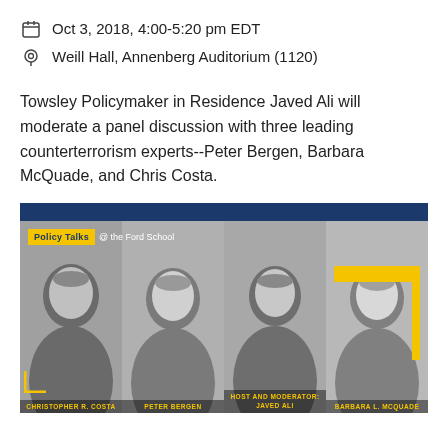Oct 3, 2018, 4:00-5:20 pm EDT
Weill Hall, Annenberg Auditorium (1120)
Towsley Policymaker in Residence Javed Ali will moderate a panel discussion with three leading counterterrorism experts--Peter Bergen, Barbara McQuade, and Chris Costa.
[Figure (photo): Panel promotional image showing four headshots in grayscale: Christopher R. Costa, Peter Bergen, Host and Moderator Javed Ali, and Barbara L. McQuade, with 'Policy Talks @ the Ford School' branding and a dark blue banner at top.]